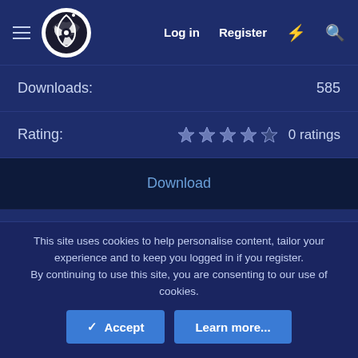Log in  Register
Downloads:  585
Rating:  0 ratings
Download
Version:  0.2.2
This site uses cookies to help personalise content, tailor your experience and to keep you logged in if you register. By continuing to use this site, you are consenting to our use of cookies.
Accept
Learn more...